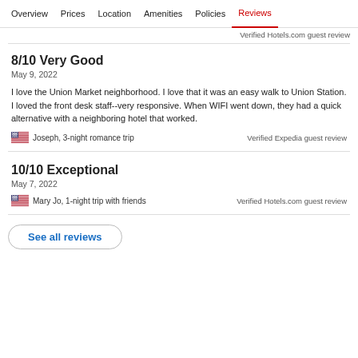Overview  Prices  Location  Amenities  Policies  Reviews
Verified Hotels.com guest review
8/10 Very Good
May 9, 2022
I love the Union Market neighborhood. I love that it was an easy walk to Union Station. I loved the front desk staff--very responsive. When WIFI went down, they had a quick alternative with a neighboring hotel that worked.
Joseph, 3-night romance trip
Verified Expedia guest review
10/10 Exceptional
May 7, 2022
Mary Jo, 1-night trip with friends
Verified Hotels.com guest review
See all reviews